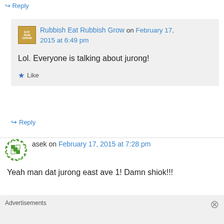↳ Reply
Rubbish Eat Rubbish Grow on February 17, 2015 at 6:49 pm
Lol. Everyone is talking about jurong!
★ Like
↳ Reply
asek on February 17, 2015 at 7:28 pm
Yeah man dat jurong east ave 1! Damn shiok!!!
Advertisements